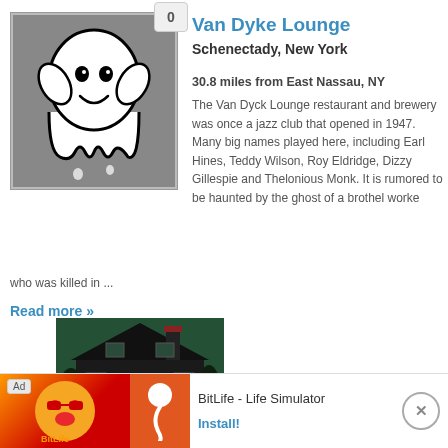[Figure (illustration): Ghost illustration on gray background with badge showing '0']
Van Dyke Lounge
Schenectady, New York
30.8 miles from East Nassau, NY
The Van Dyck Lounge restaurant and brewery was once a jazz club that opened in 1947. Many big names played here, including Earl Hines, Teddy Wilson, Roy Eldridge, Dizzy Gillespie and Thelonious Monk. It is rumored to be haunted by the ghost of a brothel worker who was killed in ...
Read more »
[Figure (photo): Dark gothic haunted house at night with green tinted sky]
Ad   BitLife - Life Simulator   Install!